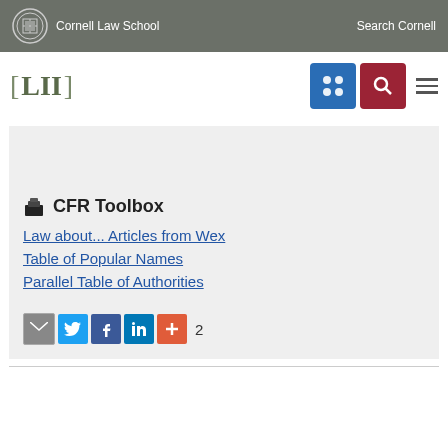Cornell Law School | Search Cornell
[Figure (logo): LII Legal Information Institute logo with bracket design]
CFR Toolbox
Law about... Articles from Wex
Table of Popular Names
Parallel Table of Authorities
[Figure (infographic): Social sharing icons: email, Twitter, Facebook, LinkedIn, plus button, count: 2]